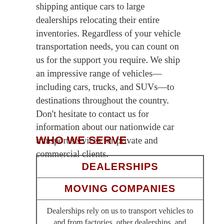shipping antique cars to large dealerships relocating their entire inventories. Regardless of your vehicle transportation needs, you can count on us for the support you require. We ship an impressive range of vehicles—including cars, trucks, and SUVs—to destinations throughout the country. Don't hesitate to contact us for information about our nationwide car transport services for private and commercial clients.
WHO WE SERVE
| DEALERSHIPS |
| --- |
| MOVING COMPANIES |
| Dealerships rely on us to transport vehicles to and from factories, other dealerships, and customers—and we always come through. Using our road-ready trucks, we load, secure, relocate and unload your vehicles with the utmost care |